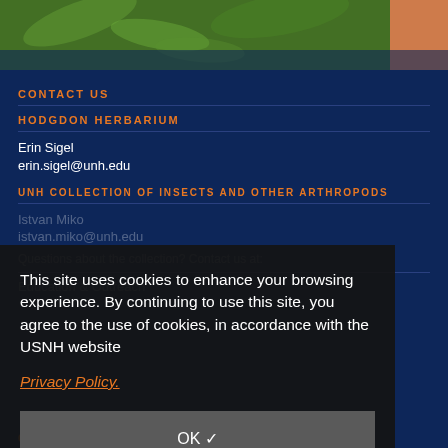[Figure (photo): Top photo strip showing green plant foliage and a partial close-up image on the right side]
CONTACT US
HODGDON HERBARIUM
Erin Sigel
erin.sigel@unh.edu
UNH COLLECTION OF INSECTS AND OTHER ARTHROPODS
Istvan Miko
istvan.miko@unh.edu
Questions about the collection? Contact us at:
Education & Outreach
This site uses cookies to enhance your browsing experience. By continuing to use this site, you agree to the use of cookies, in accordance with the USNH website Privacy Policy.
OK ✓
GIVE | UNH.EDU | COLLEGE HOME